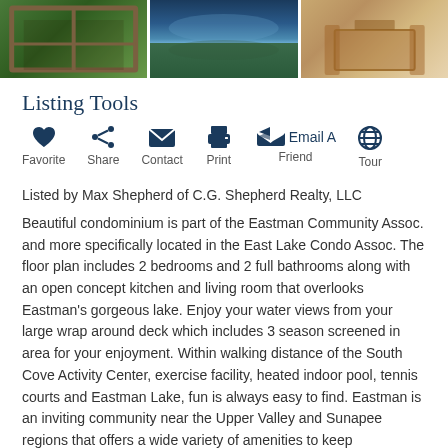[Figure (photo): Three property photos in a horizontal strip: left shows a wooden deck/window view with forest, center shows a lake reflection at dusk, right shows an interior dining area with table and chairs.]
Listing Tools
[Figure (infographic): Listing tools icons: Favorite (heart), Share (share icon), Contact (envelope), Print (printer), Email A Friend (reply arrows), Tour (globe)]
Listed by Max Shepherd of C.G. Shepherd Realty, LLC
Beautiful condominium is part of the Eastman Community Assoc. and more specifically located in the East Lake Condo Assoc. The floor plan includes 2 bedrooms and 2 full bathrooms along with an open concept kitchen and living room that overlooks Eastman's gorgeous lake. Enjoy your water views from your large wrap around deck which includes 3 season screened in area for your enjoyment. Within walking distance of the South Cove Activity Center, exercise facility, heated indoor pool, tennis courts and Eastman Lake, fun is always easy to find. Eastman is an inviting community near the Upper Valley and Sunapee regions that offers a wide variety of amenities to keep